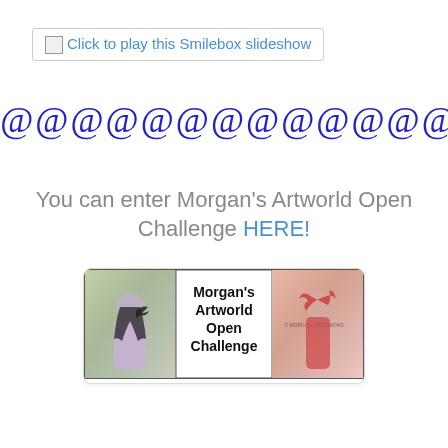[Figure (other): Smilebox slideshow link button with broken image icon and teal text: Click to play this Smilebox slideshow]
@@@@@@@@@@@@@@@
You can enter Morgan's Artworld Open Challenge HERE!
[Figure (illustration): Morgan's Artworld Open Challenge banner image showing two fantasy women illustrations flanking bold text reading Morgan's Artworld Open Challenge]